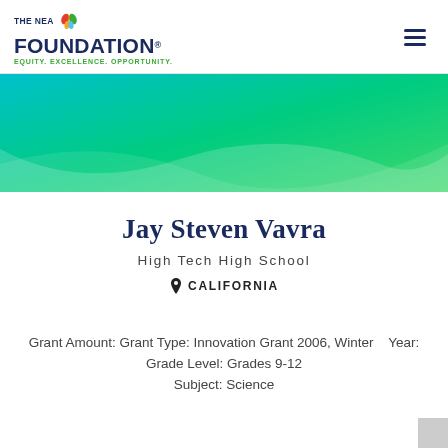THE NEA FOUNDATION · EQUITY. EXCELLENCE. OPPORTUNITY.
[Figure (illustration): Teal to green gradient banner with wave shape at bottom]
Jay Steven Vavra
High Tech High School
CALIFORNIA
Grant Amount: Grant Type: Innovation Grant 2006, Winter   Year: Grade Level: Grades 9-12 Subject: Science